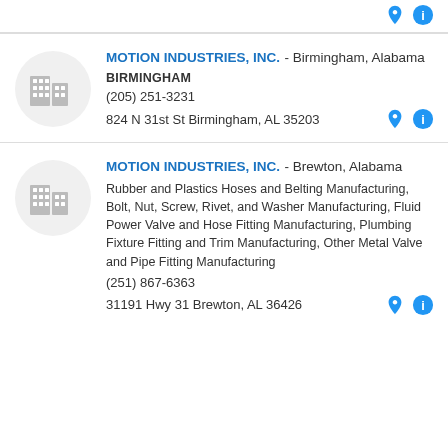(truncated address) Mobile, AL 36606
MOTION INDUSTRIES, INC. - Birmingham, Alabama
BIRMINGHAM
(205) 251-3231
824 N 31st St Birmingham, AL 35203
MOTION INDUSTRIES, INC. - Brewton, Alabama
Rubber and Plastics Hoses and Belting Manufacturing, Bolt, Nut, Screw, Rivet, and Washer Manufacturing, Fluid Power Valve and Hose Fitting Manufacturing, Plumbing Fixture Fitting and Trim Manufacturing, Other Metal Valve and Pipe Fitting Manufacturing
(251) 867-6363
31191 Hwy 31 Brewton, AL 36426